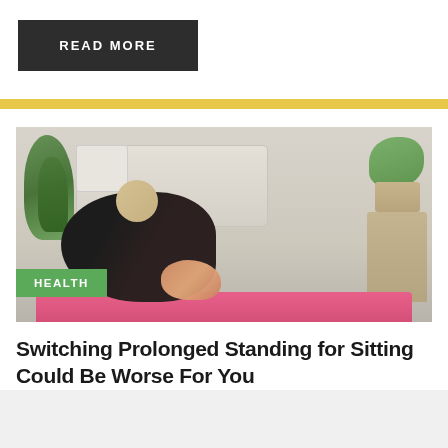READ MORE
[Figure (photo): Woman in black athletic wear stretching on a pink yoga mat in a bright room with plants and furniture in the background. A green HEALTH badge overlays the bottom-left of the image.]
Switching Prolonged Standing for Sitting Could Be Worse For You